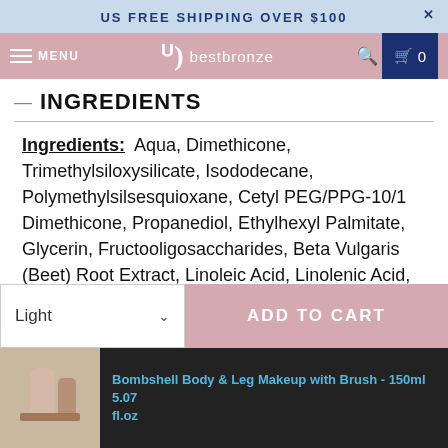US FREE SHIPPING OVER $100
bestbronze MENU
INGREDIENTS
Ingredients: Aqua, Dimethicone, Trimethylsiloxysilicate, Isododecane, Polymethylsilsesquioxane, Cetyl PEG/PPG-10/1 Dimethicone, Propanediol, Ethylhexyl Palmitate, Glycerin, Fructooligosaccharides, Beta Vulgaris (Beet) Root Extract, Linoleic Acid, Linolenic Acid, Tocopherol Acetate, Triethoxysilylethyl Polydimethylsiloxyethyl, Hexyl Dimethicone, Bentonite, Propylene Carbonate, Silica Dimethyl Silylate, Phenoxyethanol, Ethylhexylglycerin, Aluminum Hydroxide, May contain- Titanium
Light
ADD TO CART
Bombshell Body & Leg Makeup with Brush - 150ml 5.07 fl.oz